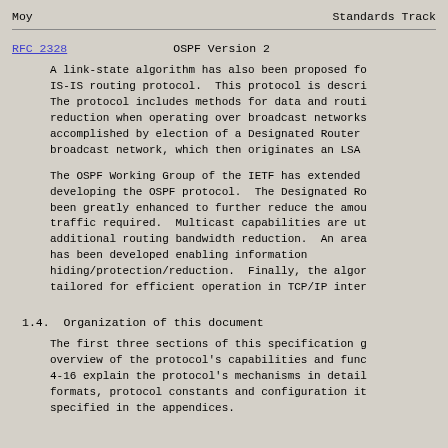Moy                                          Standards Track
RFC 2328                              OSPF Version 2
A link-state algorithm has also been proposed for IS-IS routing protocol. This protocol is described. The protocol includes methods for data and routing reduction when operating over broadcast networks accomplished by election of a Designated Router broadcast network, which then originates an LSA t
The OSPF Working Group of the IETF has extended developing the OSPF protocol. The Designated Rou been greatly enhanced to further reduce the amou traffic required. Multicast capabilities are ut additional routing bandwidth reduction. An area has been developed enabling information hiding/protection/reduction. Finally, the algor tailored for efficient operation in TCP/IP inter
1.4.  Organization of this document
The first three sections of this specification g overview of the protocol's capabilities and func 4-16 explain the protocol's mechanisms in detail formats, protocol constants and configuration ite specified in the appendices.